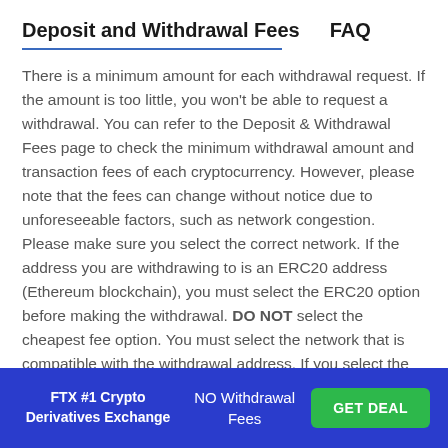Deposit and Withdrawal Fees    FAQ
There is a minimum amount for each withdrawal request. If the amount is too little, you won't be able to request a withdrawal. You can refer to the Deposit & Withdrawal Fees page to check the minimum withdrawal amount and transaction fees of each cryptocurrency. However, please note that the fees can change without notice due to unforeseeable factors, such as network congestion. Please make sure you select the correct network. If the address you are withdrawing to is an ERC20 address (Ethereum blockchain), you must select the ERC20 option before making the withdrawal. DO NOT select the cheapest fee option. You must select the network that is compatible with the withdrawal address. If you select the wrong network, you will lose your funds.
CEX.IO withdrawal limits on the platform?
FTX #1 Crypto Derivatives Exchange | NO Withdrawal Fees | GET DEAL